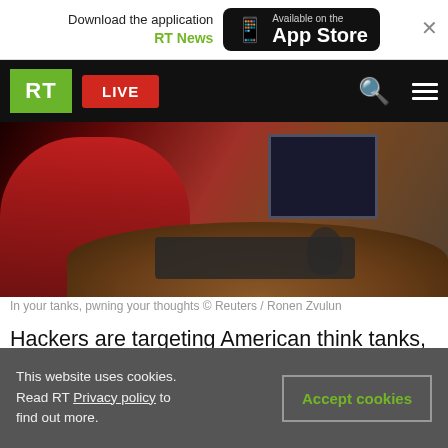Download the application RT News — Available on the App Store
RT LIVE
[Figure (photo): Person in red clothing sitting at a round wooden table with a keyboard and computer monitor, viewed from behind]
In your tanks, pwning your thoughts © Reuters / Ronen Zvulun
Hackers are targeting American think tanks, according to the FBI and the recently-founded Cybersecurity and Infrastructure Security Agency, a body owing its existence to those same think tanks' scare stories about foreign hackers.
This website uses cookies. Read RT Privacy policy to find out more.